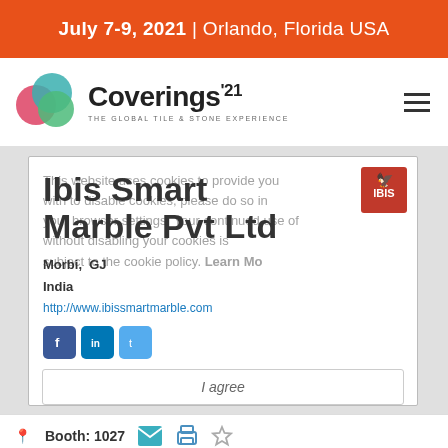July 7-9, 2021 | Orlando, Florida USA
[Figure (logo): Coverings'21 logo with overlapping colored circles and tagline 'THE GLOBAL TILE & STONE EXPERIENCE']
Ibis Smart Marble Pvt Ltd
Morbi, GJ
India
http://www.ibissmartmarble.com
[Figure (infographic): Cookie consent overlay with text: 'This website uses cookies to provide you with the best online experience. If you wish to disable cookies, please do so in your browser settings. Your continued use of this website without disabling your cookies is subject to the cookie policy. Learn More']
I agree
Booth: 1027